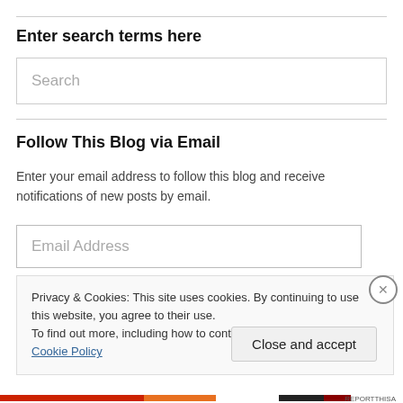Enter search terms here
Search
Follow This Blog via Email
Enter your email address to follow this blog and receive notifications of new posts by email.
Email Address
Privacy & Cookies: This site uses cookies. By continuing to use this website, you agree to their use.
To find out more, including how to control cookies, see here: Cookie Policy
Close and accept